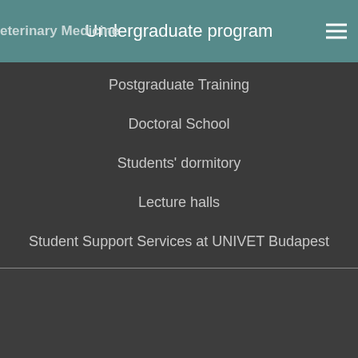eterinary Medicine  Undergraduate program
Postgraduate Training
Doctoral School
Students' dormitory
Lecture halls
Student Support Services at UNIVET Budapest